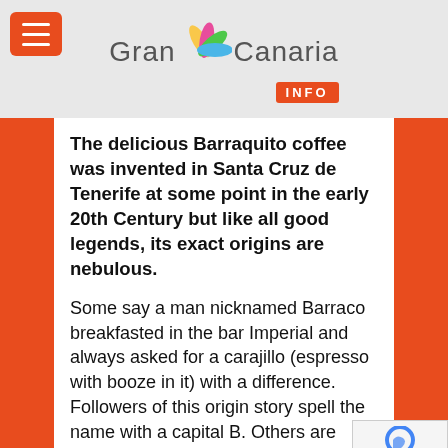Gran Canaria INFO
The delicious Barraquito coffee was invented in Santa Cruz de Tenerife at some point in the early 20th Century but like all good legends, its exact origins are nebulous.
Some say a man nicknamed Barraco breakfasted in the bar Imperial and always asked for a carajillo (espresso with booze in it) with a difference. Followers of this origin story spell the name with a capital B. Others are convinced that a waiter at the